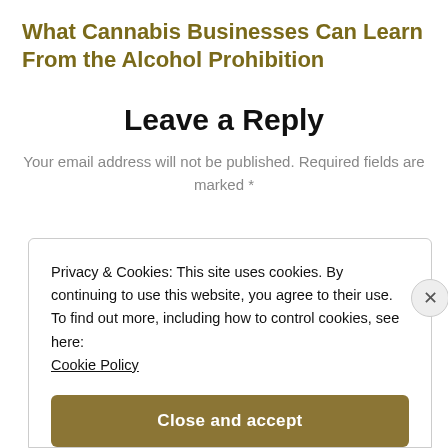What Cannabis Businesses Can Learn From the Alcohol Prohibition
Leave a Reply
Your email address will not be published. Required fields are marked *
Privacy & Cookies: This site uses cookies. By continuing to use this website, you agree to their use.
To find out more, including how to control cookies, see here: Cookie Policy
Close and accept